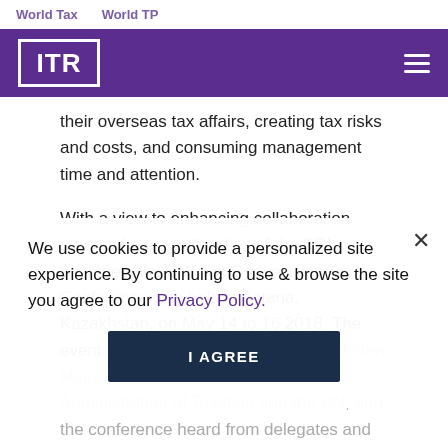World Tax    World TP
[Figure (logo): ITR (International Tax Review) purple header bar with ITR logo on left and hamburger menu on right]
their overseas tax affairs, creating tax risks and costs, and consuming management time and attention.
With a view to enhancing collaboration among the tax authorities of the BRI countries, the BRI Tax Cooperation Conference was held in Astana, Kazakhstan, on May 14 to 16 2018. The event was co-organised by the Kazakhstan Ministry of Finance, the China State Administration of Taxation and the UN, and the conference heard from delegates and representatives from the OECD, IMF and World Bank.
We use cookies to provide a personalized site experience. By continuing to use & browse the site you agree to our Privacy Policy.
The conference considered the principles of tax cooperation among the countries involved in the BRI: the rule of law, taxpayer services, effective and efficient dispute resolution